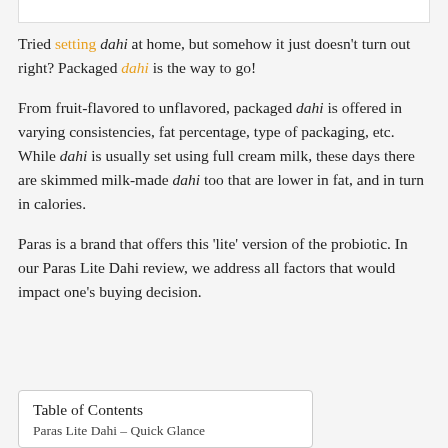Tried setting dahi at home, but somehow it just doesn't turn out right? Packaged dahi is the way to go!
From fruit-flavored to unflavored, packaged dahi is offered in varying consistencies, fat percentage, type of packaging, etc. While dahi is usually set using full cream milk, these days there are skimmed milk-made dahi too that are lower in fat, and in turn in calories.
Paras is a brand that offers this 'lite' version of the probiotic. In our Paras Lite Dahi review, we address all factors that would impact one's buying decision.
| Table of Contents |
| --- |
| Paras Lite Dahi – Quick Glance |